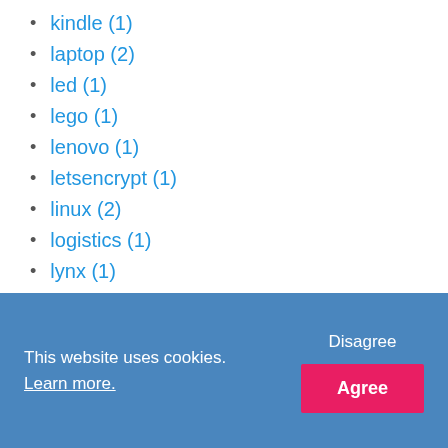kindle (1)
laptop (2)
led (1)
lego (1)
lenovo (1)
letsencrypt (1)
linux (2)
logistics (1)
lynx (1)
macbook (9)
macmini (1)
macos (3)
mailto (1)
mediago (1)
This website uses cookies. Learn more. Disagree Agree